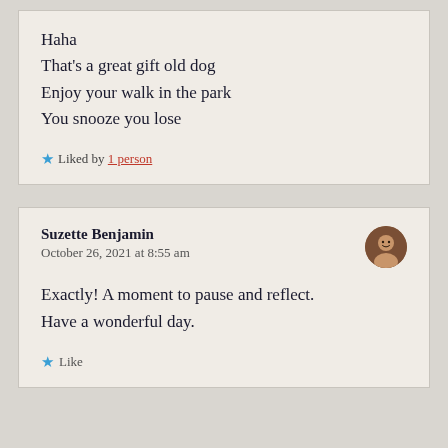Haha
That's a great gift old dog
Enjoy your walk in the park
You snooze you lose
Liked by 1 person
Suzette Benjamin
October 26, 2021 at 8:55 am
Exactly! A moment to pause and reflect.
Have a wonderful day.
Like